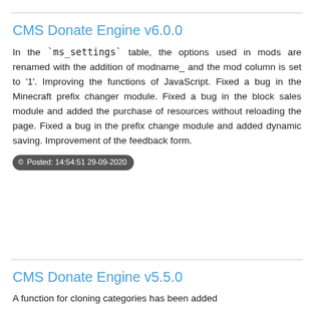CMS Donate Engine v6.0.0
In the `ms_settings` table, the options used in mods are renamed with the addition of modname_ and the mod column is set to '1'. Improving the functions of JavaScript. Fixed a bug in the Minecraft prefix changer module. Fixed a bug in the block sales module and added the purchase of resources without reloading the page. Fixed a bug in the prefix change module and added dynamic saving. Improvement of the feedback form.
© Posted: 14:54:51 29-09-2020
CMS Donate Engine v5.5.0
A function for cloning categories has been added